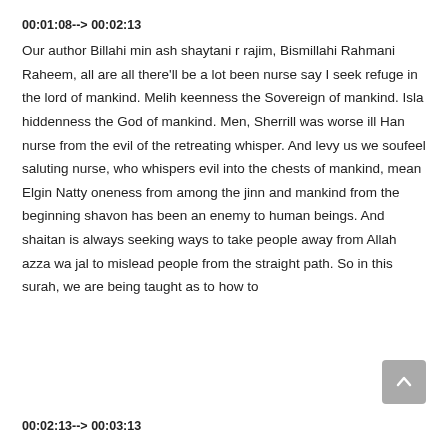00:01:08--> 00:02:13
Our author Billahi min ash shaytani r rajim, Bismillahi Rahmani Raheem, all are all there'll be a lot been nurse say I seek refuge in the lord of mankind. Melih keenness the Sovereign of mankind. Isla hiddenness the God of mankind. Men, Sherrill was worse ill Han nurse from the evil of the retreating whisper. And levy us we soufeel saluting nurse, who whispers evil into the chests of mankind, mean Elgin Natty oneness from among the jinn and mankind from the beginning shavon has been an enemy to human beings. And shaitan is always seeking ways to take people away from Allah azza wa jal to mislead people from the straight path. So in this surah, we are being taught as to how to
00:02:13--> 00:03:13